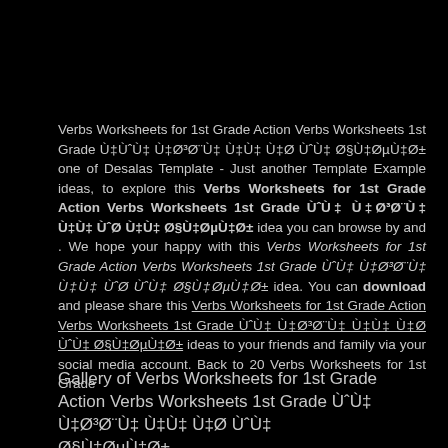Verbs Worksheets for 1st Grade Action Verbs Worksheets 1st Grade ÙˆÙ‡ Ù‡Ø³Ø¨Ù‡ Ù‡Ù‡ Ù‡Ø ÙˆÙ‡ Ø§Ù‡ØµÙ‡Ø± one of Desalas Template - Just another Template Example ideas, to explore this Verbs Worksheets for 1st Grade Action Verbs Worksheets 1st Grade ÙˆÙ‡ Ù‡Ø³Ø¨Ù‡ Ù‡Ù‡ ÙˆØ Ù‡Ù‡ Ø§Ù‡ØµÙ‡Ø± idea you can browse by and . We hope your happy with this Verbs Worksheets for 1st Grade Action Verbs Worksheets 1st Grade ÙˆÙ‡ Ù‡Ø³Ø¨Ù‡ Ù‡Ù‡ ÙˆØ ÙˆÙ‡ Ø§Ù‡ØµÙ‡Ø± idea. You can download and please share this Verbs Worksheets for 1st Grade Action Verbs Worksheets 1st Grade ÙˆÙ‡ Ù‡Ø³Ø¨Ù‡ Ù‡Ù‡ Ù‡Ø ÙˆÙ‡ Ø§Ù‡ØµÙ‡Ø± ideas to your friends and family via your social media account. Back to 20 Verbs Worksheets for 1st Grade
Gallery of Verbs Worksheets for 1st Grade Action Verbs Worksheets 1st Grade ÙˆÙ‡ Ù‡Ø³Ø¨Ù‡ Ù‡Ù‡ Ù‡Ø ÙˆÙ‡ Ø§Ù‡ØµÙ‡Ø±